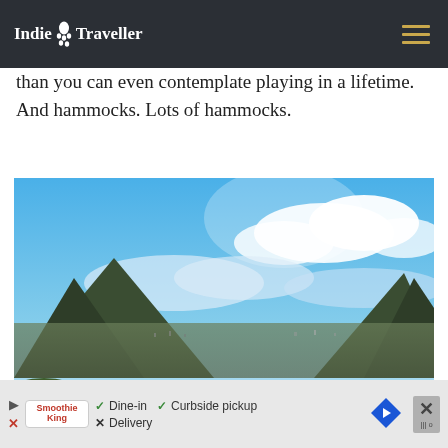Indie Traveller
than you can even contemplate playing in a lifetime. And hammocks. Lots of hammocks.
[Figure (photo): Panoramic landscape view of volcanic mountains and a valley town under a blue sky with white clouds, surrounded by lush green foliage in the foreground.]